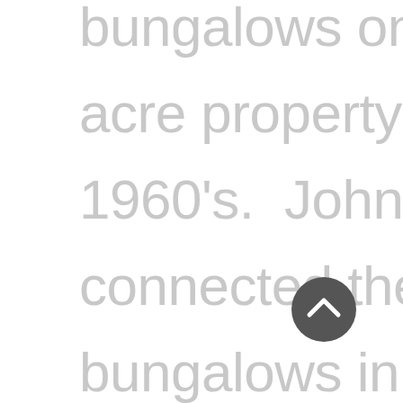bungalows on this one acre property in the 1960's.  John Hara connected the bungalows in 1978. Architect Paul Noborikawa is the latest Architect involved in the design of this residence.  The
[Figure (other): A dark grey circular scroll-to-top button with an upward-pointing chevron arrow in white]